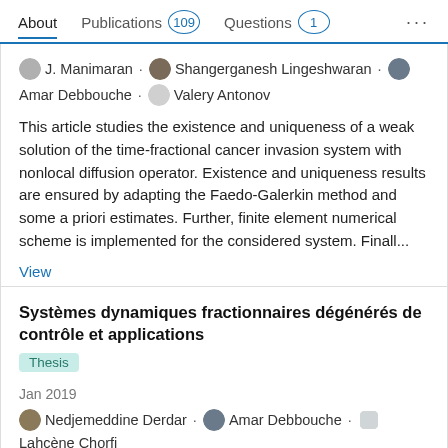About   Publications 109   Questions 1   ...
J. Manimaran · Shangerganesh Lingeshwaran · Amar Debbouche · Valery Antonov
This article studies the existence and uniqueness of a weak solution of the time-fractional cancer invasion system with nonlocal diffusion operator. Existence and uniqueness results are ensured by adapting the Faedo-Galerkin method and some a priori estimates. Further, finite element numerical scheme is implemented for the considered system. Finall...
View
Systèmes dynamiques fractionnaires dégénérés de contrôle et applications
Thesis
Jan 2019
Nedjemeddine Derdar · Amar Debbouche · Lahcène Chorfi
Fractional control dynamic systems automatically appear in